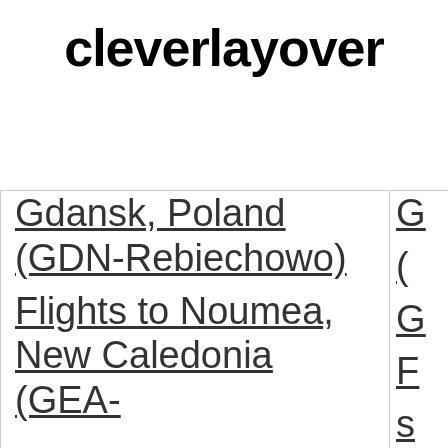cleverlayover
| Gdansk, Poland (GDN-Rebiechowo) | G... |
| Flights to Noumea, New Caledonia (GEA- | F... S... |